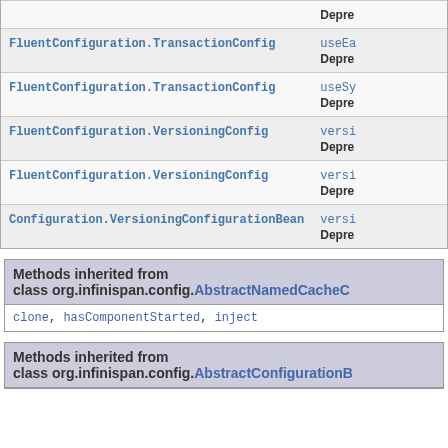| Class | Method |
| --- | --- |
| FluentConfiguration.TransactionConfig | useEa...
Depre... |
| FluentConfiguration.TransactionConfig | useSy...
Depre... |
| FluentConfiguration.VersioningConfig | versi...
Depre... |
| FluentConfiguration.VersioningConfig | versi...
Depre... |
| Configuration.VersioningConfigurationBean | versi...
Depre... |
Methods inherited from class org.infinispan.config.AbstractNamedCacheC...
clone, hasComponentStarted, inject
Methods inherited from class org.infinispan.config.AbstractConfigurationB...